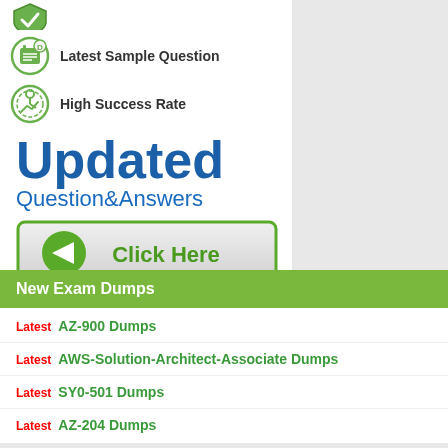[Figure (illustration): Green shield checkmark icon]
Latest Sample Question
High Success Rate
Updated
Question&Answers
[Figure (illustration): Click Here button with green arrow icon and green border]
New Exam Dumps
Latest AZ-900 Dumps
Latest AWS-Solution-Architect-Associate Dumps
Latest SY0-501 Dumps
Latest AZ-204 Dumps